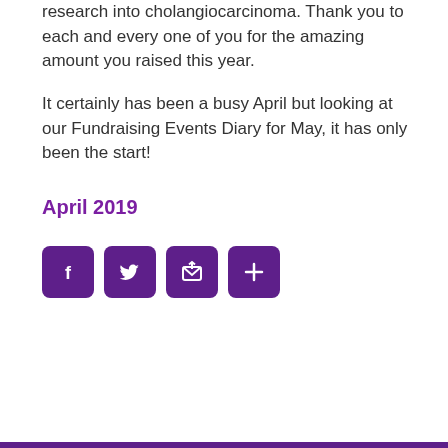research into cholangiocarcinoma. Thank you to each and every one of you for the amazing amount you raised this year.
It certainly has been a busy April but looking at our Fundraising Events Diary for May, it has only been the start!
April 2019
[Figure (infographic): Four purple rounded-square social media share buttons: Facebook (f), Twitter (bird), Email/share (envelope with arrow), and a plus (+) button.]